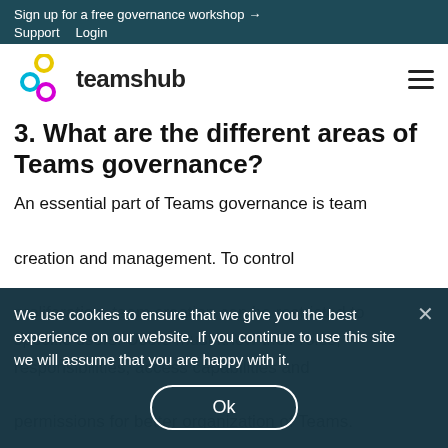Sign up for a free governance workshop →
Support  Login
[Figure (logo): Teamshub logo with three interlocking circles in cyan, yellow and magenta, and the text 'teamshub']
3. What are the different areas of Teams governance?
An essential part of Teams governance is team creation and management. To control proliferation, team creation can be restricted to specific users. Users must know their roles, responsibilities, access capabilities and permissions for better organization of Teams. Also, applying naming conventions is important
We use cookies to ensure that we give you the best experience on our website. If you continue to use this site we will assume that you are happy with it.